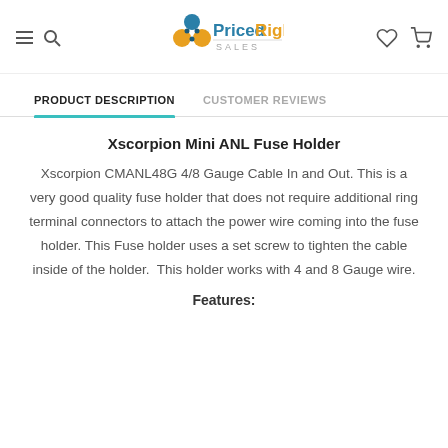PricedRight SALES
PRODUCT DESCRIPTION | CUSTOMER REVIEWS
Xscorpion Mini ANL Fuse Holder
Xscorpion CMANL48G 4/8 Gauge Cable In and Out. This is a very good quality fuse holder that does not require additional ring terminal connectors to attach the power wire coming into the fuse holder. This Fuse holder uses a set screw to tighten the cable inside of the holder. This holder works with 4 and 8 Gauge wire.
Features: